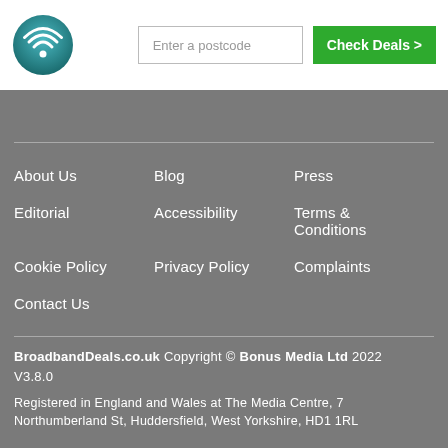[Figure (logo): BroadbandDeals.co.uk logo — circular teal gradient icon with white wifi symbol]
Enter a postcode
Check Deals >
About Us
Blog
Press
Editorial
Accessibility
Terms & Conditions
Cookie Policy
Privacy Policy
Complaints
Contact Us
BroadbandDeals.co.uk Copyright © Bonus Media Ltd 2022 V3.8.0 Registered in England and Wales at The Media Centre, 7 Northumberland St, Huddersfield, West Yorkshire, HD1 1RL